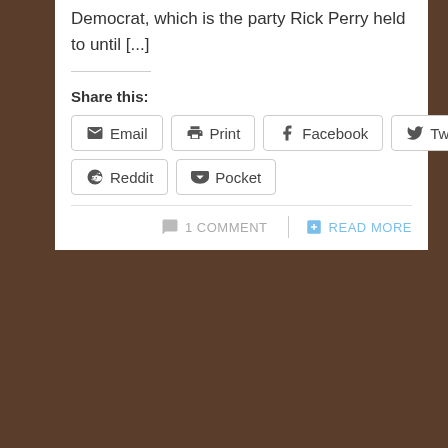Democrat, which is the party Rick Perry held to until [...]
Share this:
Email  Print  Facebook  Twitter  Reddit  Pocket
1 COMMENT    READ MORE
Take Action: Congress and the Debt Ceiling
July 12, 2011 at 5:41 pm
By now everyone has heard that the United States is going to hit our current borrowing limit on August 2nd according to a US Treasury estimate.  The President has stated repeatedly that the limit must be raised or the US